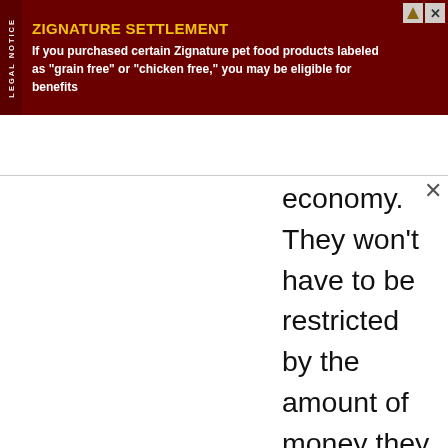[Figure (infographic): Legal notice advertisement banner for Zignature Settlement. Dark red/maroon background with 'LEGAL NOTICE' in white text on left sidebar. Title 'ZIGNATURE SETTLEMENT' in yellow/gold bold text. Body text in white: 'If you purchased certain Zignature pet food products labeled as "grain free" or "chicken free," you may be eligible for benefits'. Icons at top right.]
economy. They won't have to be restricted by the amount of money they could have amassed. They will also have equal rights; no one should face discrimination for being of a different color or